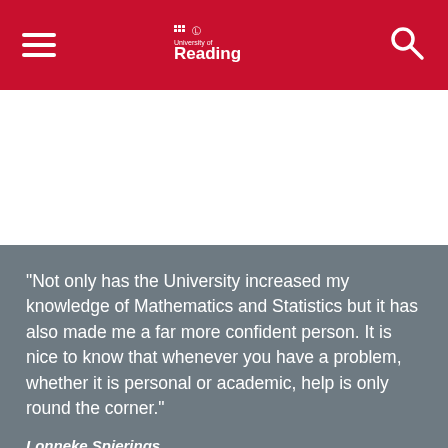University of Reading
[Figure (photo): White area / image placeholder below the red navigation header]
“Not only has the University increased my knowledge of Mathematics and Statistics but it has also made me a far more confident person. It is nice to know that whenever you have a problem, whether it is personal or academic, help is only round the corner.”
Lonneke Spierings
MMath Mathematics